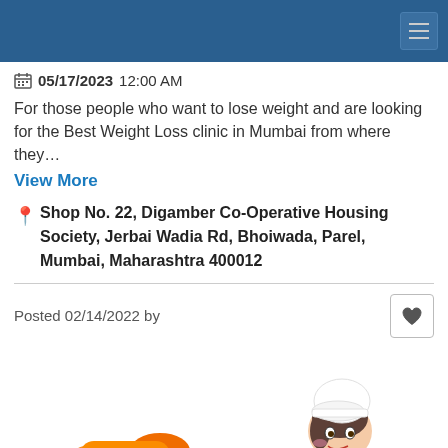05/17/2023 12:00 AM
For those people who want to lose weight and are looking for the Best Weight Loss clinic in Mumbai from where they…
View More
Shop No. 22, Digamber Co-Operative Housing Society, Jerbai Wadia Rd, Bhoiwada, Parel, Mumbai, Maharashtra 400012
Posted 02/14/2022 by
[Figure (illustration): Cartoon illustration of a female chef character wearing a chef hat, with orange food items visible at the bottom of the page]